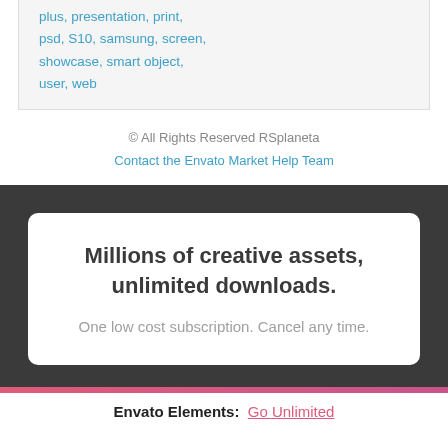plus, presentation, print, psd, S10, samsung, screen, showcase, smart object, user, web
© All Rights Reserved RSplaneta
Contact the Envato Market Help Team
Millions of creative assets, unlimited downloads.
One low cost subscription. Cancel any time.
Envato Elements:  Go Unlimited